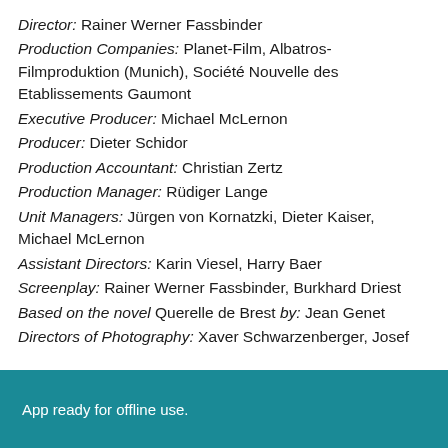Director: Rainer Werner Fassbinder
Production Companies: Planet-Film, Albatros-Filmproduktion (Munich), Société Nouvelle des Etablissements Gaumont
Executive Producer: Michael McLernon
Producer: Dieter Schidor
Production Accountant: Christian Zertz
Production Manager: Rüdiger Lange
Unit Managers: Jürgen von Kornatzki, Dieter Kaiser, Michael McLernon
Assistant Directors: Karin Viesel, Harry Baer
Screenplay: Rainer Werner Fassbinder, Burkhard Driest
Based on the novel Querelle de Brest by: Jean Genet
Directors of Photography: Xaver Schwarzenberger, Josef
App ready for offline use.